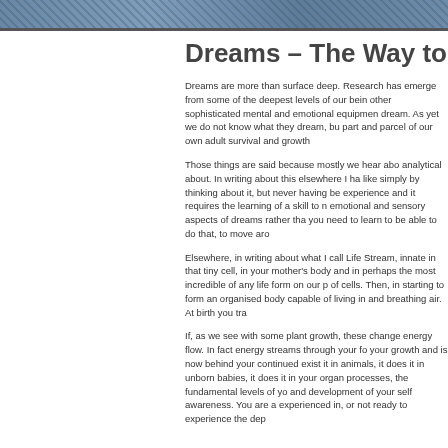[Figure (photo): Partial photo strip at top of page showing water or textured surface in blue/dark tones]
Dreams – The Way to
Dreams are more than surface deep. Research has emerge from some of the deepest levels of our bein other sophisticated mental and emotional equipmen dream. As yet we do not know what they dream, bu part and parcel of our own adult survival and growth
Those things are said because mostly we hear abo analytical about. In writing about this elsewhere I ha like simply by thinking about it, but never having be experience and it requires the learning of a skill to n emotional and sensory aspects of dreams rather tha you need to learn to be able to do that, to move aro
Elsewhere, in writing about what I call Life Stream, innate in that tiny cell, in your mother's body and in perhaps the most incredible of any life form on our p of cells. Then, in starting to form an organised body capable of living in and breathing air. At birth you tra
If, as we see with some plant growth, these change energy flow. In fact energy streams through your fo your growth and is now behind your continued exist it in animals, it does it in unborn babies, it does it in your organ processes, the fundamental levels of yo and development of your self awareness. You are a experienced in, or not ready to experience the dep